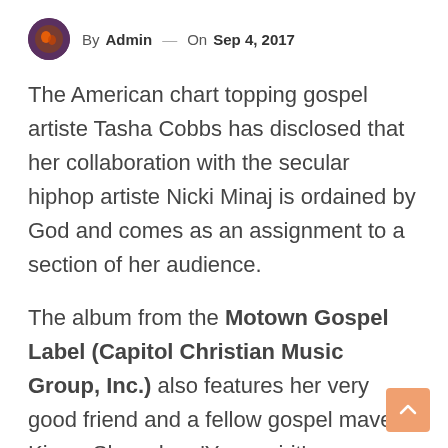By Admin — On Sep 4, 2017
The American chart topping gospel artiste Tasha Cobbs has disclosed that her collaboration with the secular hiphop artiste Nicki Minaj is ordained by God and comes as an assignment to a section of her audience.
The album from the Motown Gospel Label (Capitol Christian Music Group, Inc.) also features her very good friend and a fellow gospel maven Kierra Sheard on 'Your spirit' – a song Tasha wrote with Kim Walker of Jesus Culture. Her spiritual father Pastor William Murphy was also featured on 'Forever at your